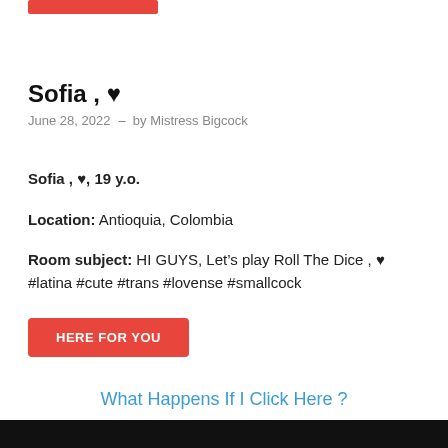Sofia , ♥
June 28, 2022  -  by Mistress Bigcock
Sofia , ♥, 19 y.o.
Location: Antioquia, Colombia
Room subject: HI GUYS, Let's play Roll The Dice , ♥ #latina #cute #trans #lovense #smallcock
HERE FOR YOU
What Happens If I Click Here ?